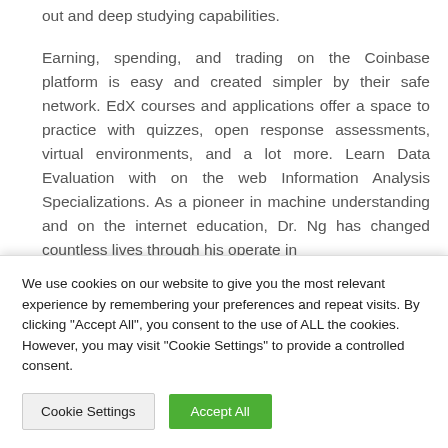out and deep studying capabilities.
Earning, spending, and trading on the Coinbase platform is easy and created simpler by their safe network. EdX courses and applications offer a space to practice with quizzes, open response assessments, virtual environments, and a lot more. Learn Data Evaluation with on the web Information Analysis Specializations. As a pioneer in machine understanding and on the internet education, Dr. Ng has changed countless lives through his operate in
We use cookies on our website to give you the most relevant experience by remembering your preferences and repeat visits. By clicking “Accept All”, you consent to the use of ALL the cookies. However, you may visit "Cookie Settings" to provide a controlled consent.